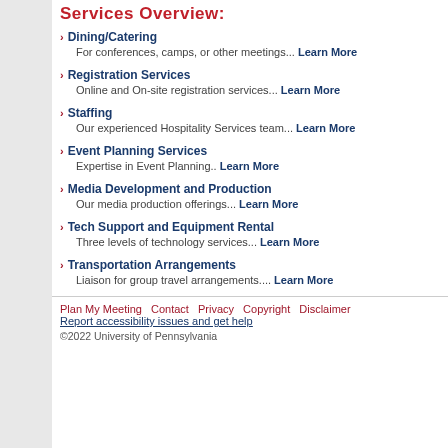Services Overview:
Dining/Catering — For conferences, camps, or other meetings... Learn More
Registration Services — Online and On-site registration services... Learn More
Staffing — Our experienced Hospitality Services team... Learn More
Event Planning Services — Expertise in Event Planning.. Learn More
Media Development and Production — Our media production offerings... Learn More
Tech Support and Equipment Rental — Three levels of technology services... Learn More
Transportation Arrangements — Liaison for group travel arrangements.... Learn More
Plan My Meeting   Contact   Privacy   Copyright   Disclaimer
Report accessibility issues and get help
©2022 University of Pennsylvania